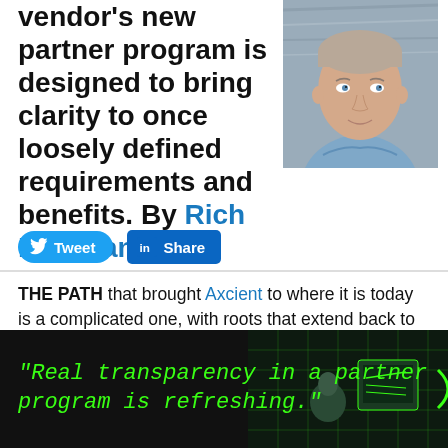vendor's new partner program is designed to bring clarity to once loosely defined requirements and benefits. By Rich Freeman
[Figure (photo): Headshot of Rich Freeman, a man in a light blue shirt, light-colored wood background]
Tweet  Share
THE PATH that brought Axcient to where it is today is a complicated one, with roots that extend back to 2013, when data protection vendor eFolder bought file sync and share vendor
[Figure (photo): Dark advertisement banner with green neon italic text reading "Real transparency in a partner program is refreshing." with a person at a computer in background and green circuit/grid overlay]